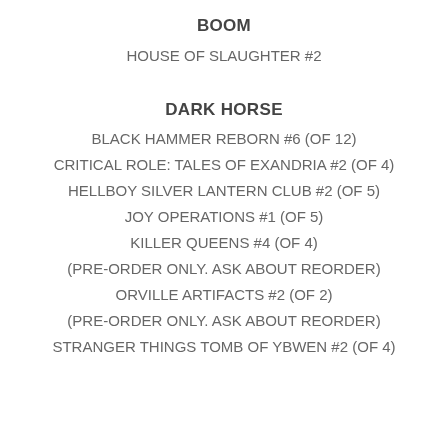BOOM
HOUSE OF SLAUGHTER #2
DARK HORSE
BLACK HAMMER REBORN #6 (OF 12)
CRITICAL ROLE: TALES OF EXANDRIA #2 (OF 4)
HELLBOY SILVER LANTERN CLUB #2 (OF 5)
JOY OPERATIONS #1 (OF 5)
KILLER QUEENS #4 (OF 4)
(PRE-ORDER ONLY. ASK ABOUT REORDER)
ORVILLE ARTIFACTS #2 (OF 2)
(PRE-ORDER ONLY. ASK ABOUT REORDER)
STRANGER THINGS TOMB OF YBWEN #2 (OF 4)